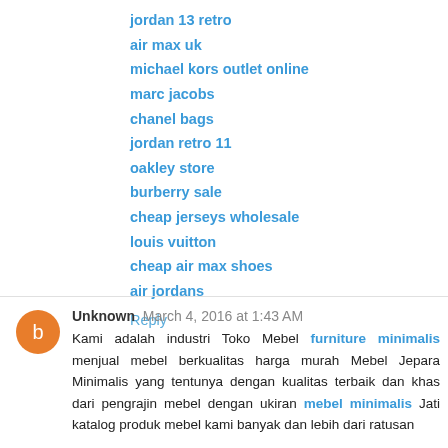jordan 13 retro
air max uk
michael kors outlet online
marc jacobs
chanel bags
jordan retro 11
oakley store
burberry sale
cheap jerseys wholesale
louis vuitton
cheap air max shoes
air jordans
Reply
Unknown March 4, 2016 at 1:43 AM
Kami adalah industri Toko Mebel furniture minimalis menjual mebel berkualitas harga murah Mebel Jepara Minimalis yang tentunya dengan kualitas terbaik dan khas dari pengrajin mebel dengan ukiran mebel minimalis Jati katalog produk mebel kami banyak dan lebih dari ratusan